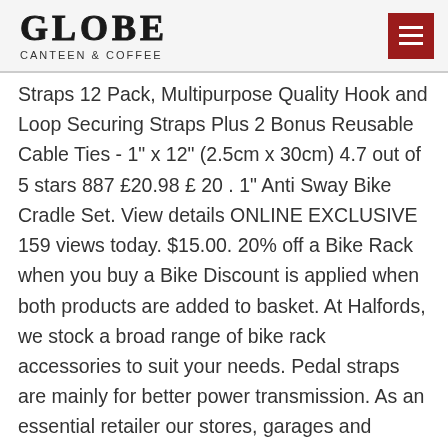GLOBE CANTEEN & COFFEE
Straps 12 Pack, Multipurpose Quality Hook and Loop Securing Straps Plus 2 Bonus Reusable Cable Ties - 1" x 12" (2.5cm x 30cm) 4.7 out of 5 stars 887 £20.98 £ 20 . 1" Anti Sway Bike Cradle Set. View details ONLINE EXCLUSIVE 159 views today. $15.00. 20% off a Bike Rack when you buy a Bike Discount is applied when both products are added to basket. At Halfords, we stock a broad range of bike rack accessories to suit your needs. Pedal straps are mainly for better power transmission. As an essential retailer our stores, garages and mobile experts remain open with continued safety measures in place. Alfatex® by